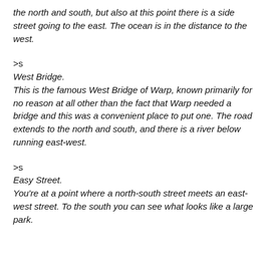the north and south, but also at this point there is a side street going to the east. The ocean is in the distance to the west.
>s
West Bridge.
This is the famous West Bridge of Warp, known primarily for no reason at all other than the fact that Warp needed a bridge and this was a convenient place to put one. The road extends to the north and south, and there is a river below running east-west.
>s
Easy Street.
You're at a point where a north-south street meets an east-west street. To the south you can see what looks like a large park.